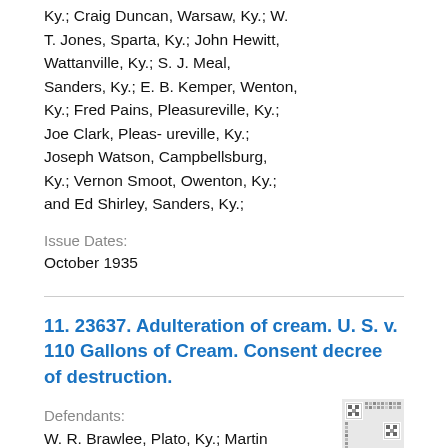Ky.; Craig Duncan, Warsaw, Ky.; W. T. Jones, Sparta, Ky.; John Hewitt, Wattanville, Ky.; S. J. Meal, Sanders, Ky.; E. B. Kemper, Wenton, Ky.; Fred Pains, Pleasureville, Ky.; Joe Clark, Pleas- ureville, Ky.; Joseph Watson, Campbellsburg, Ky.; Vernon Smoot, Owenton, Ky.; and Ed Shirley, Sanders, Ky.;
Issue Dates:
October 1935
11. 23637. Adulteration of cream. U. S. v. 110 Gallons of Cream. Consent decree of destruction.
Defendants:
W. R. Brawlee, Plato, Ky.; Martin